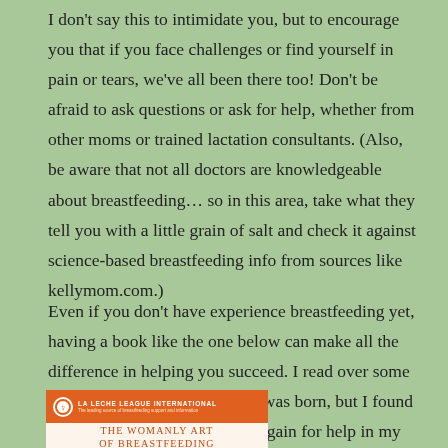I don't say this to intimidate you, but to encourage you that if you face challenges or find yourself in pain or tears, we've all been there too! Don't be afraid to ask questions or ask for help, whether from other moms or trained lactation consultants. (Also, be aware that not all doctors are knowledgeable about breastfeeding… so in this area, take what they tell you with a little grain of salt and check it against science-based breastfeeding info from sources like kellymom.com.)
Even if you don't have experience breastfeeding yet, having a book like the one below can make all the difference in helping you succeed. I read over some of it a bit before my first baby was born, but I found myself turning to it again and again for help in my first months of motherhood. But eventually it became second nature and with my twins, I didn't need it as much at all.
[Figure (illustration): Book cover for 'The Womanly Art of Breastfeeding' published by La Leche League International, showing orange header bar with organization logo and name, white area with title text in orange serif font.]